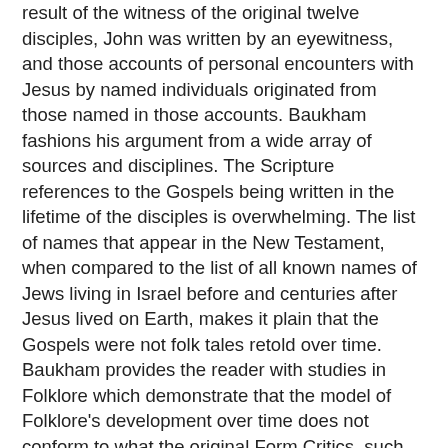result of the witness of the original twelve disciples, John was written by an eyewitness, and those accounts of personal encounters with Jesus by named individuals originated from those named in those accounts. Baukham fashions his argument from a wide array of sources and disciplines. The Scripture references to the Gospels being written in the lifetime of the disciples is overwhelming. The list of names that appear in the New Testament, when compared to the list of all known names of Jews living in Israel before and centuries after Jesus lived on Earth, makes it plain that the Gospels were not folk tales retold over time. Baukham provides the reader with studies in Folklore which demonstrate that the model of Folklore's development over time does not conform to what the original Form Critics, such as Bultman, envisioned. Folk lore did not by in large develop through uncontrolled community involvement. There were processes by which the message of Folk Tales and Myths remained true to the original form. Baukham also demonstrates that the original Church drew on the tradition of Jewish and Hellenistic Schools to preserve knowledge of history, secular and religious. Such methods included teachers certified to pass on the knowledge, students whom teachers deemed worthy to be entrusted with such